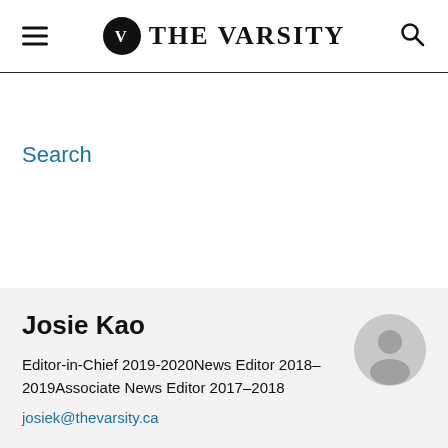THE VARSITY
Search
Josie Kao
Editor-in-Chief 2019-2020News Editor 2018–2019Associate News Editor 2017–2018
josiek@thevarsity.ca